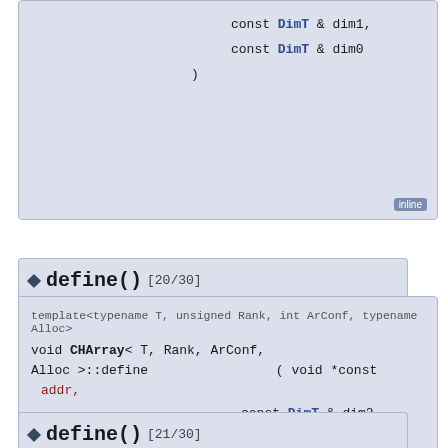[Figure (screenshot): Top partial code documentation box showing const DimT & dim1, const DimT & dim0 parameters with inline badge]
[Figure (screenshot): define() [20/30] code documentation box with template and CHArray define function signature including void *const addr, const DimT & dim2, const DimT & dim1, const DimT & dim0 parameters and inline badge]
[Figure (screenshot): define() [21/30] tab header, partially visible at bottom of page]